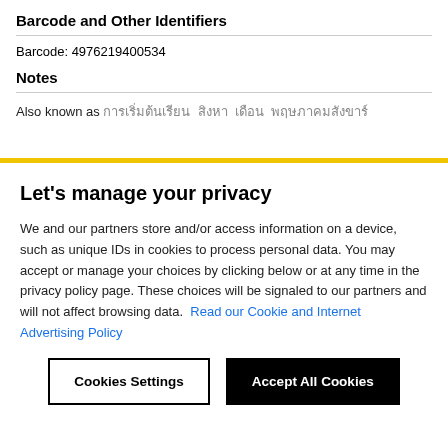Barcode and Other Identifiers
Barcode: 4976219400534
Notes
Also known as [non-latin text] [non-latin text] [non-latin text] [non-latin text]
Let's manage your privacy
We and our partners store and/or access information on a device, such as unique IDs in cookies to process personal data. You may accept or manage your choices by clicking below or at any time in the privacy policy page. These choices will be signaled to our partners and will not affect browsing data. Read our Cookie and Internet Advertising Policy
Cookies Settings
Accept All Cookies